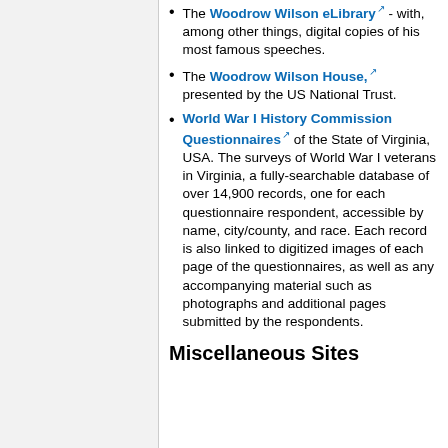The Woodrow Wilson eLibrary - with, among other things, digital copies of his most famous speeches.
The Woodrow Wilson House, presented by the US National Trust.
World War I History Commission Questionnaires of the State of Virginia, USA. The surveys of World War I veterans in Virginia, a fully-searchable database of over 14,900 records, one for each questionnaire respondent, accessible by name, city/county, and race. Each record is also linked to digitized images of each page of the questionnaires, as well as any accompanying material such as photographs and additional pages submitted by the respondents.
Miscellaneous Sites